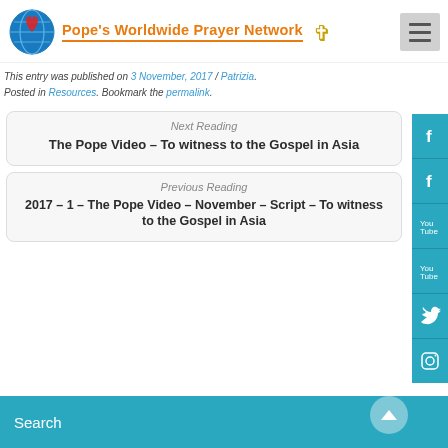Pope's Worldwide Prayer Network
This entry was published on 3 November, 2017 / Patrizia. Posted in Resources. Bookmark the permalink.
Next Reading
The Pope Video – To witness to the Gospel in Asia
Previous Reading
2017 – 1 – The Pope Video – November – Script – To witness to the Gospel in Asia
Search